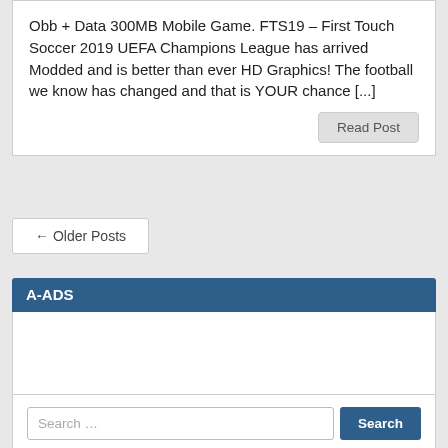Obb + Data 300MB Mobile Game. FTS19 – First Touch Soccer 2019 UEFA Champions League has arrived Modded and is better than ever HD Graphics! The football we know has changed and that is YOUR chance [...]
Read Post
← Older Posts
A-ADS
[Figure (other): A-ADS advertisement widget body area, white background, empty]
Search …
Search